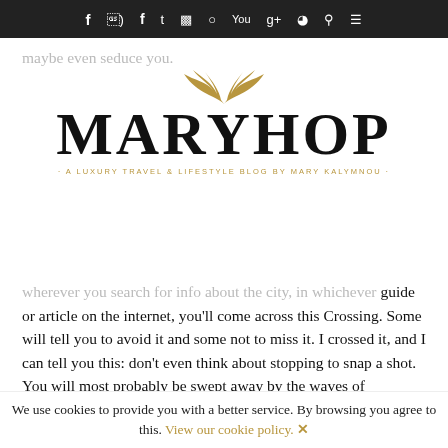Navigation bar with social icons: f, twitter, instagram, pinterest, youtube, g+, rss, search, menu
maybe even seduce you.
[Figure (logo): MARYHOP logo with gold angel wings above the text, tagline: A LUXURY TRAVEL & LIFESTYLE BLOG BY MARY KALYMNOU]
wherever you search for info about the city, in whichever guide or article on the internet, you'll come across this Crossing. Some will tell you to avoid it and some not to miss it. I crossed it, and I can tell you this: don't even think about stopping to snap a shot. You will most probably be swept away by the waves of pedestrians. I am not kidding. I don't think you'll encounter this anywhere else in the world.
We use cookies to provide you with a better service. By browsing you agree to this. View our cookie policy. ✕